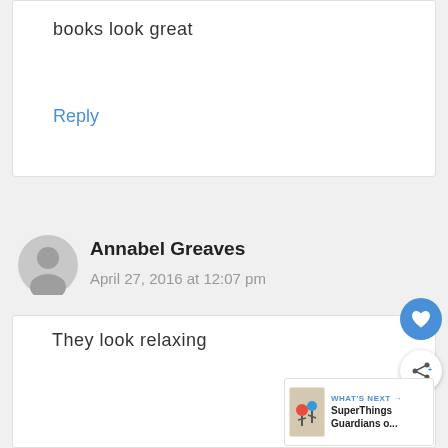books look great
Reply
[Figure (illustration): Grey circular user avatar placeholder icon]
Annabel Greaves
April 27, 2016 at 12:07 pm
They look relaxing
[Figure (infographic): What's Next widget showing SuperThings Guardians o...]